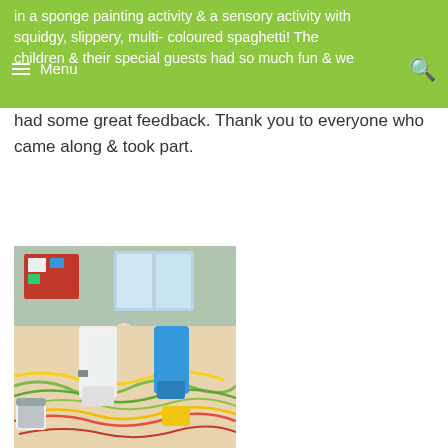in a sponge painting activity & a sensory activity with squidgy, slippery, multi- coloured spaghetti! The children & their special guests had so much fun & we
had some great feedback. Thank you to everyone who came along & took part.
[Figure (photo): Children and adults sitting around a round wooden table doing a craft/painting activity in a classroom setting. Some faces are blurred for privacy.]
[Figure (photo): Close-up of hands and feet touching colourful spaghetti (yellow, red, green) on the floor, a sensory activity. A white bucket is visible.]